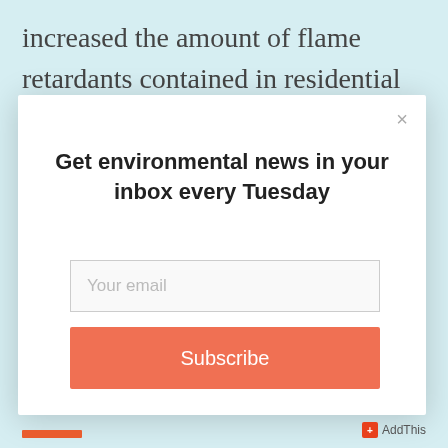increased the amount of flame retardants contained in residential upholstered bedding and furniture that
[Figure (screenshot): Modal popup overlay on a light blue background. Contains a close button (×) in top right, a bold headline 'Get environmental news in your inbox every Tuesday', an email input field with placeholder 'Your email', and an orange-salmon colored 'Subscribe' button.]
AddThis